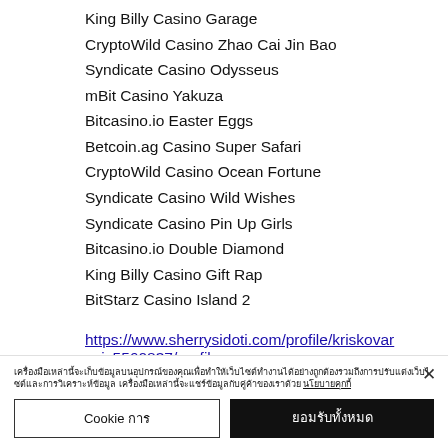King Billy Casino Garage
CryptoWild Casino Zhao Cai Jin Bao
Syndicate Casino Odysseus
mBit Casino Yakuza
Bitcasino.io Easter Eggs
Betcoin.ag Casino Super Safari
CryptoWild Casino Ocean Fortune
Syndicate Casino Wild Wishes
Syndicate Casino Pin Up Girls
Bitcasino.io Double Diamond
King Billy Casino Gift Rap
BitStarz Casino Island 2
https://www.sherrysidoti.com/profile/kriskovarovic5560837/profile
Cookie banner with Thai text and cookie management buttons